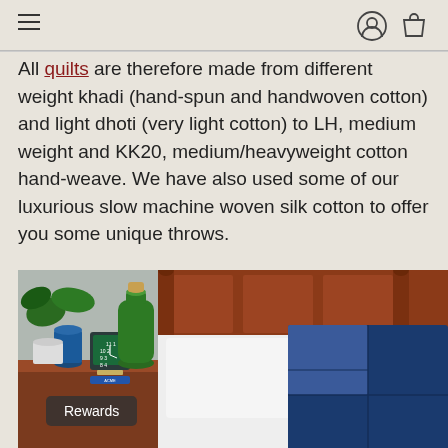[Navigation: hamburger menu, user icon, shopping bag icon]
All quilts are therefore made from different weight khadi (hand-spun and handwoven cotton) and light dhoti (very light cotton) to LH, medium weight and KK20, medium/heavyweight cotton hand-weave. We have also used some of our luxurious slow machine woven silk cotton to offer you some unique throws.
[Figure (photo): A bedroom scene with a blue indigo patchwork quilt/throw draped over a bed with white pillows and a wooden headboard. On the nightstand there is a small clock, a blue vase, a large green glass bottle with cork, and a green plant.]
Rewards